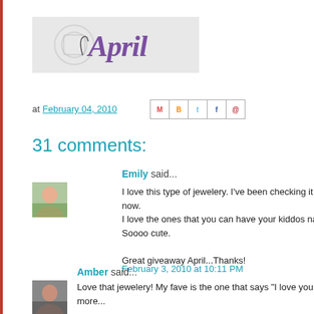[Figure (logo): Blog header logo with cursive 'April' text in purple/teal on light gray background with camera watermark icon]
at February 04, 2010
[Figure (other): Social share icons: Email, Blogger, Twitter, Facebook, Pinterest]
31 comments:
Emily said...
I love this type of jewelery. I've been checking it out from different now.
I love the ones that you can have your kiddos names.
Soooo cute.

Great giveaway April...Thanks!
February 3, 2010 at 10:11 PM
Amber said...
Love that jewelery! My fave is the one that says "I love you more"